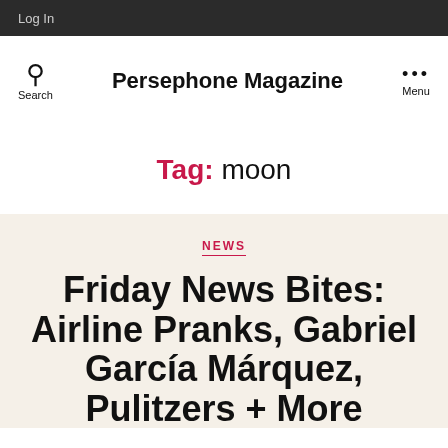Log In
Persephone Magazine
Tag: moon
NEWS
Friday News Bites: Airline Pranks, Gabriel García Márquez, Pulitzers + More